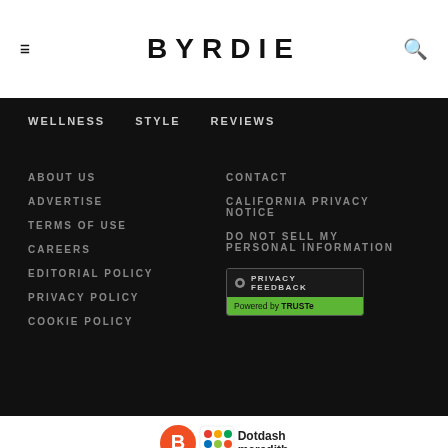BYRDIE
WELLNESS   STYLE   REVIEWS
ABOUT US
CONTACT
ADVERTISE
CALIFORNIA PRIVACY NOTICE
TERMS OF USE
DO NOT SELL MY PERSONAL INFORMATION
CAREERS
EDITORIAL POLICY
[Figure (logo): Privacy Feedback badge powered by TRUSTe]
PRIVACY POLICY
COOKIE POLICY
[Figure (logo): Dotdash Meredith logo]
Byrdie is part of the Dotdash Meredith publishing family.
We've updated our Privacy Policy, which will go in to effect on...